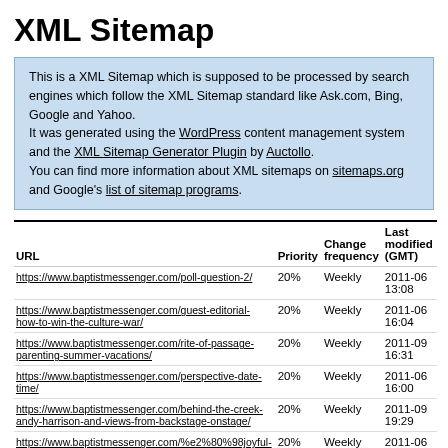XML Sitemap
This is a XML Sitemap which is supposed to be processed by search engines which follow the XML Sitemap standard like Ask.com, Bing, Google and Yahoo.
It was generated using the WordPress content management system and the XML Sitemap Generator Plugin by Auctollo.
You can find more information about XML sitemaps on sitemaps.org and Google's list of sitemap programs.
| URL | Priority | Change frequency | Last modified (GMT) |
| --- | --- | --- | --- |
| https://www.baptistmessenger.com/poll-question-2/ | 20% | Weekly | 2011-06 13:08 |
| https://www.baptistmessenger.com/guest-editorial-how-to-win-the-culture-war/ | 20% | Weekly | 2011-06 16:04 |
| https://www.baptistmessenger.com/rite-of-passage-parenting-summer-vacations/ | 20% | Weekly | 2011-09 16:31 |
| https://www.baptistmessenger.com/perspective-date-time/ | 20% | Weekly | 2011-06 16:00 |
| https://www.baptistmessenger.com/behind-the-creek-andy-harrison-and-views-from-backstage-onstage/ | 20% | Weekly | 2011-09 19:29 |
| https://www.baptistmessenger.com/%e2%80%98joyful-sound-choir%e2%80%99-uplifts/ | 20% | Weekly | 2011-06 15:56 |
| https://www.baptistmessenger.com/obu-presents-... | 20% | Weekly | 2011-09 ... |